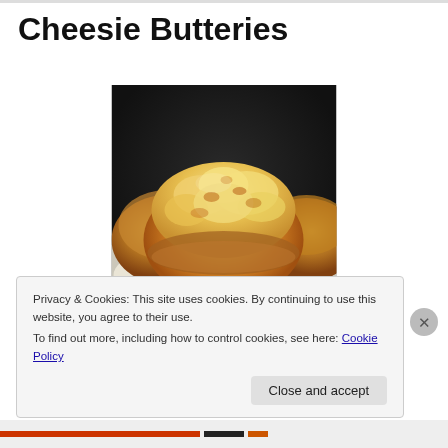Cheesie Butteries
[Figure (photo): Close-up photo of cheesy butteries (Scottish pastry rolls) on parchment paper, golden brown with melted cheese on top]
Privacy & Cookies: This site uses cookies. By continuing to use this website, you agree to their use.
To find out more, including how to control cookies, see here: Cookie Policy
Close and accept